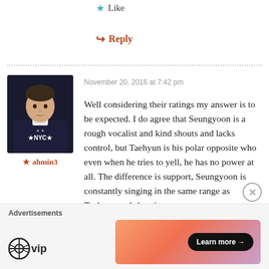★ Like
↪ Reply
[Figure (photo): Avatar photo of a young man wearing a dark navy sweatshirt with 'NYC' text and stars]
★ ahmin3
November 20, 2016 at 7:42 pm
Well considering their ratings my answer is to be expected. I do agree that Seungyoon is a rough vocalist and kind shouts and lacks control, but Taehyun is his polar opposite who even when he tries to yell, he has no power at all. The difference is support, Seungyoon is constantly singing in the same range as Taehyun and shouting
Advertisements
[Figure (logo): WordPress VIP logo]
[Figure (infographic): Advertisement banner with gradient orange-pink background and 'Learn more →' button]